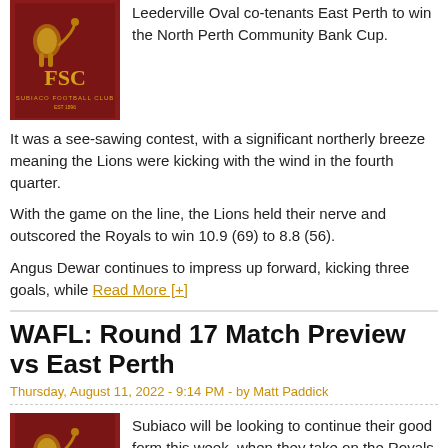...Subiaco have won a 13-point win at home against Leederville Oval co-tenants East Perth to win the North Perth Community Bank Cup.
It was a see-sawing contest, with a significant northerly breeze meaning the Lions were kicking with the wind in the fourth quarter.
With the game on the line, the Lions held their nerve and outscored the Royals to win 10.9 (69) to 8.8 (56).
Angus Dewar continues to impress up forward, kicking three goals, while Read More [+]
WAFL: Round 17 Match Preview vs East Perth
Thursday, August 11, 2022 - 9:14 PM - by Matt Paddick
Subiaco will be looking to continue their good form this week, when they take on the Royals at Leederville Oval on Saturday August 13.
The co-tenants of the ground will be battling it out